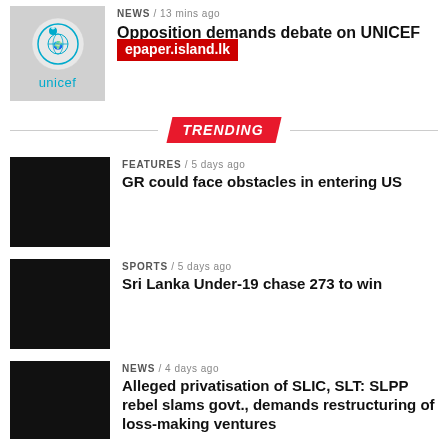[Figure (photo): UNICEF logo thumbnail with teal circle icon and 'unicef' text below]
NEWS / 13 mins ago
Opposition demands debate on UNICEF report on child...
[Figure (other): Red watermark overlay reading 'epaper.island.lk']
TRENDING
[Figure (photo): Dark/black thumbnail image]
FEATURES / 5 days ago
GR could face obstacles in entering US
[Figure (photo): Dark/black thumbnail image]
SPORTS / 5 days ago
Sri Lanka Under-19 chase 273 to win
[Figure (photo): Dark/black thumbnail image]
NEWS / 4 days ago
Alleged privatisation of SLIC, SLT: SLPP rebel slams govt., demands restructuring of loss-making ventures